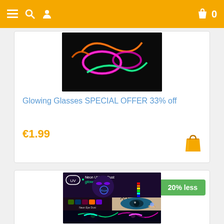Navigation bar with menu, search, user, cart icons
[Figure (photo): Glowing neon glasses on black background]
Glowing Glasses SPECIAL OFFER 33% off
€1.99
[Figure (photo): Neon UV Eye Dust glowkings product collage showing makeup and UV face paint]